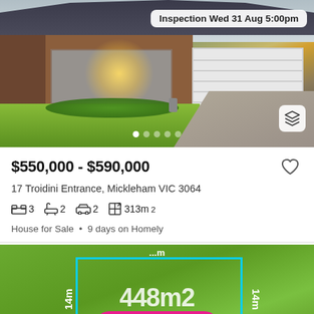[Figure (photo): Exterior photo of a single-storey brick house with white garage door, front garden, and driveway. An inspection badge reads 'Inspection Wed 31 Aug 5:00pm'. Navigation dots at bottom and a 3D cube icon button visible.]
$550,000 - $590,000
17 Troidini Entrance, Mickleham VIC 3064
3  2  2  313m²
House for Sale • 9 days on Homely
[Figure (map): Aerial map/land plot diagram showing a grassed lot with a cyan/teal rectangle outline. Text shows '448m2' in the centre and 'approx.' below. Left and right sides show '14m' dimension labels. A pink 'Save search' button is overlaid at bottom centre. A partial label is visible at top reading '...m'.]